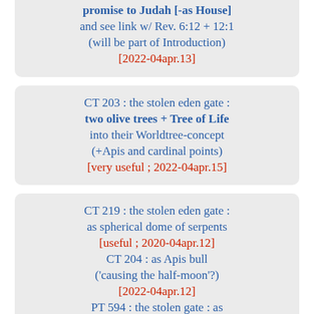promise to Judah [-as House] and see link w/ Rev. 6:12 + 12:1 (will be part of Introduction) [2022-04apr.13]
CT 203 : the stolen eden gate : two olive trees + Tree of Life into their Worldtree-concept (+Apis and cardinal points) [very useful ; 2022-04apr.15]
CT 219 : the stolen eden gate : as spherical dome of serpents [useful ; 2020-04apr.12] CT 204 : as Apis bull ('causing the half-moon'?) [2022-04apr.12] PT 594 : the stolen gate : as 'gate of speech' and 'sceptre'